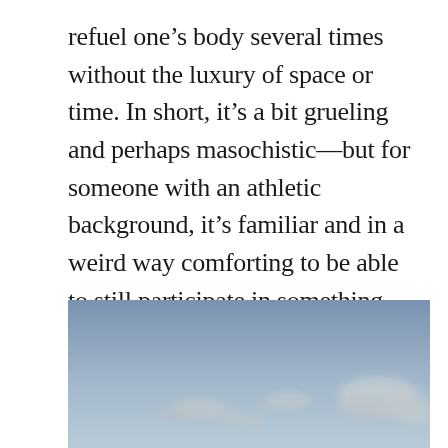refuel one's body several times without the luxury of space or time. In short, it's a bit grueling and perhaps masochistic—but for someone with an athletic background, it's familiar and in a weird way comforting to be able to still participate in something like this with others.
[Figure (photo): Sky photo showing a blue-grey sky with scattered clouds near the horizon, appearing to show birds or distant objects in a hazy sky.]